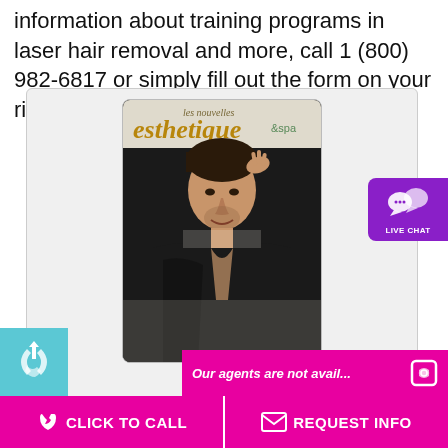information about training programs in laser hair removal and more, call 1 (800) 982-6817 or simply fill out the form on your right.
[Figure (photo): Magazine cover of 'les nouvelles esthetiques & spa' featuring a man in a black shirt with his hand raised to his head]
View PDF
Our agents are not avail...
CLICK TO CALL
REQUEST INFO